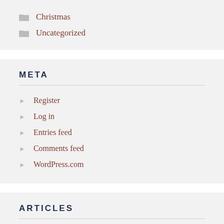Christmas
Uncategorized
META
Register
Log in
Entries feed
Comments feed
WordPress.com
ARTICLES